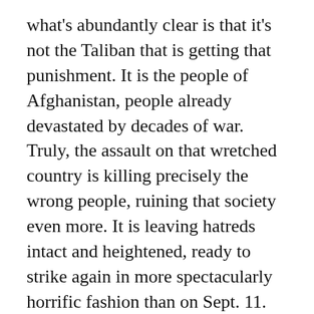what's abundantly clear is that it's not the Taliban that is getting that punishment. It is the people of Afghanistan, people already devastated by decades of war. Truly, the assault on that wretched country is killing precisely the wrong people, ruining that society even more. It is leaving hatreds intact and heightened, ready to strike again in more spectacularly horrific fashion than on Sept. 11.
And here in India, it sharpens our own never-very-well-hidden prejudices, lets us construct the massive pretence that Pakistan is at the root of all our ills, allows us to complacently shut our eyes to much